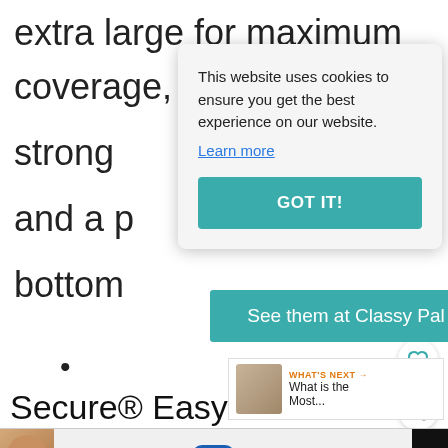extra large for maximum coverage, a strong [obscured] and a [obscured] bottom
[Figure (screenshot): Cookie consent modal dialog with text 'This website uses cookies to ensure you get the best experience on our website.' and a 'Learn more' link, plus a teal 'GOT IT!' button]
[Figure (infographic): Teal button labeled 'See them at Classy Pal']
[Figure (infographic): Three navigation dots and heart/share icon buttons on the right]
[Figure (infographic): What's Next widget with label 'WHAT'S NEXT' and text 'What is the Most...']
Secure® Easy-Release Wheelchair
[Figure (infographic): Advertisement banner: person photo, 'Call 211', 'Visit 211.org', 2·1·1 badge, close X button, and dark icon on right]